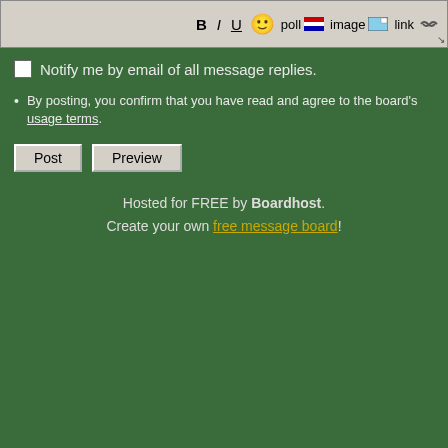[Figure (screenshot): Toolbar with formatting buttons: B (bold), I (italic), U (underline), smiley face emoji, poll icon, image icon, link icon. Has a resize handle in the bottom right corner.]
Notify me by email of all message replies.
By posting, you confirm that you have read and agree to the board's usage terms.
Post  Preview
Hosted for FREE by Boardhost. Create your own free message board!